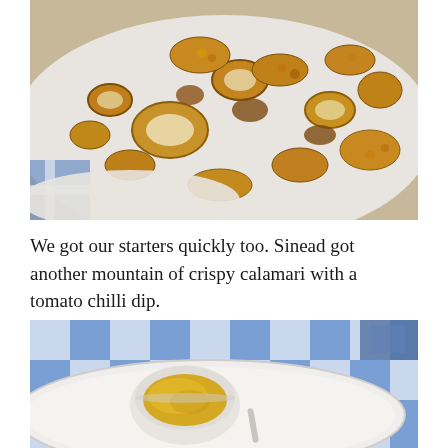[Figure (photo): Close-up photo of a plate of crispy fried calamari rings and tentacles, golden brown, on a white oval plate with a blue and white checkered tablecloth visible underneath.]
We got our starters quickly too. Sinead got another mountain of crispy calamari with a tomato chilli dip.
[Figure (photo): Photo of a white oval plate with a small round dipping cup containing a yellow/golden sauce (tomato chilli dip), on a blue and white checkered tablecloth, with a fork and other items visible.]